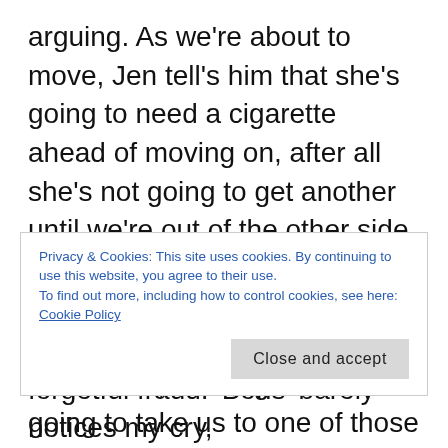arguing. As we're about to move, Jen tell's him that she's going to need a cigarette ahead of moving on, after all she's not going to get another until we're out of the other side of Heathrow. Our new friend says 'Ah!' raising his finger, he then wheel's us further into the concourse, thinking that he's going to take us to one of those hilarious animal style pens that smokers are herded in to. Nope, he finds a nook between the concourse window and a
Privacy & Cookies: This site uses cookies. By continuing to use this website, you agree to their use.
To find out more, including how to control cookies, see here: Cookie Policy
Close and accept
forgetful fraud. 'Boris' barely notices my cry,